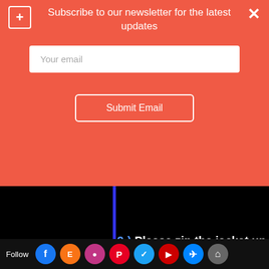[Figure (screenshot): Newsletter subscription popup overlay with salmon/coral background showing title 'Subscribe to our newsletter for the latest updates', an email input field, and a Submit Email button]
choose your best fitting short zip up jacket. The jacket can be made of cotton , fabric or denim. DO NOT CHOOSE any ELASTIC or STRETCHY jacket! The JACKET you will choose MUST NOT BE STRETCHABLE or ELASTIC !
2-) Please zip the jacket up and cl... ja...
Follow [social icons: Facebook, Etsy, Instagram, Pinterest, Twitter, YouTube, Messenger, Share]